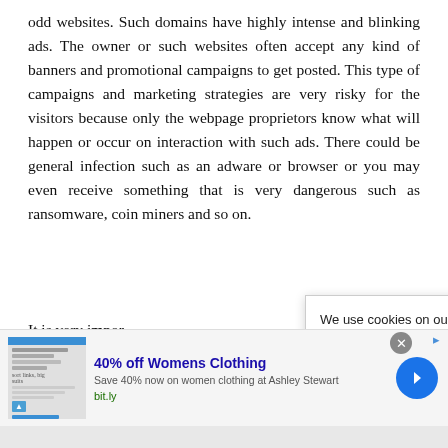odd websites. Such domains have highly intense and blinking ads. The owner or such websites often accept any kind of banners and promotional campaigns to get posted. This type of campaigns and marketing strategies are very risky for the visitors because only the webpage proprietors know what will happen or occur on interaction with such ads. There could be general infection such as an adware or browser or you may even receive something that is very dangerous such as ransomware, coin miners and so on.
It is very impor... before installing...
[Figure (screenshot): Cookie consent popup: 'We use cookies on our website to give you the most relevant experience by remembering your preferences and repeat visits. By clicking "Accept", you...']
[Figure (screenshot): Advertisement banner: '40% off Womens Clothing - Save 40% now on women clothing at Ashley Stewart - bit.ly' with close button and navigation arrow]